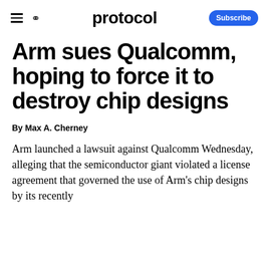protocol  Subscribe
Arm sues Qualcomm, hoping to force it to destroy chip designs
By Max A. Cherney
Arm launched a lawsuit against Qualcomm Wednesday, alleging that the semiconductor giant violated a license agreement that governed the use of Arm's chip designs by its recently